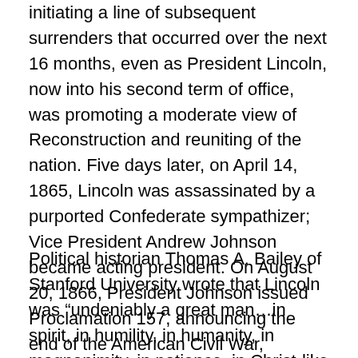initiating a line of subsequent surrenders that occurred over the next 16 months, even as President Lincoln, now into his second term of office, was promoting a moderate view of Reconstruction and reuniting of the nation. Five days later, on April 14, 1865, Lincoln was assassinated by a purported Confederate sympathizer; Vice President Andrew Johnson became acting president. On August 20, 1866, President Johnson issued Proclamation 157, announcing the end of the American Civil War, “Declaring that Peace, Order, Tranquility, and Civil Authority Now Exists in and Throughout the Whole of the United States of America.” 9
Political historian Thomas A. Bailey of Stanford University wrote that Lincoln was “undeniably a great man…in spirit, in humility, in humanity, in magnanimity, in patience, in Christ-like charity, in capacity for growth, in political